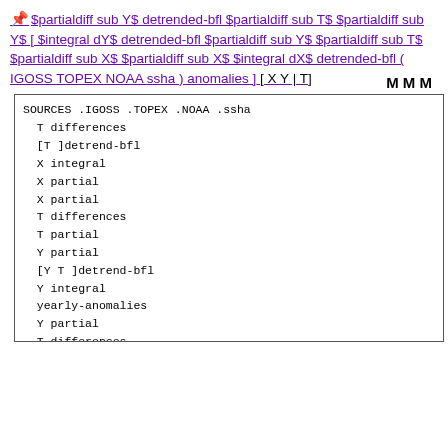📌 $partialdiff sub Y$ detrended-bfl $partialdiff sub T$ $partialdiff sub Y$ [ $integral dY$ detrended-bfl $partialdiff sub Y$ $partialdiff sub T$ $partialdiff sub X$ $partialdiff sub X$ $integral dX$ detrended-bfl ( IGOSS TOPEX NOAA ssha ) anomalies ] [ X Y | T]  M M M
SOURCES .IGOSS .TOPEX .NOAA .ssha
  T differences
  [T ]detrend-bfl
  X integral
  X partial
  X partial
  T differences
  T partial
  Y partial
  [Y T ]detrend-bfl
  Y integral
  yearly-anomalies
  Y partial
  T differences
  T partial
  [Y T ]detrend-bfl
  Y partial